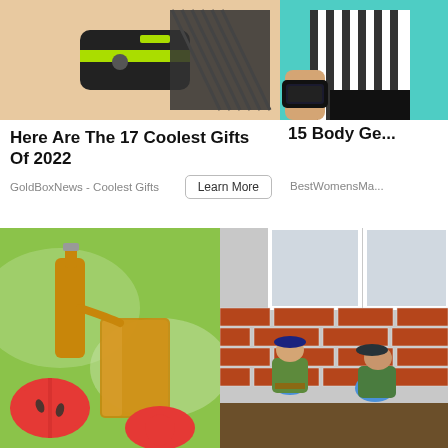[Figure (photo): Hand holding a small yellow-green and black portable device with a strap]
[Figure (photo): Person in striped shirt wearing a fitness tracker on wrist]
Here Are The 17 Coolest Gifts Of 2022
GoldBoxNews - Coolest Gifts
Learn More
15 Body Ge...
BestWomensMa...
[Figure (photo): Apple cider vinegar being poured from a bottle into a glass, with apple halves nearby]
[Figure (photo): Workers kneeling beside a brick house exterior doing landscaping or foundation work]